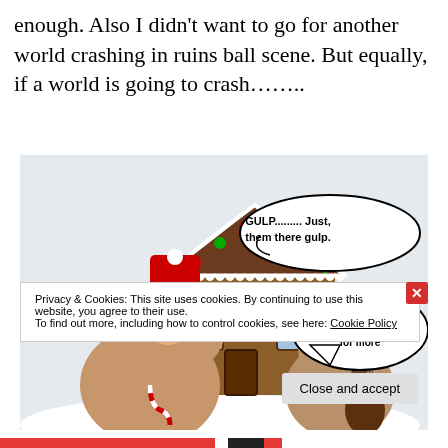enough. Also I didn't want to go for another world crashing in ruins ball scene. But equally, if a world is going to crash……..
[Figure (illustration): Two hamsters near a gingerbread house in a Christmas scene. One hamster wears a red hat and holds candy cane, the other wears a bandana and plays guitar. Speech bubbles say 'GULP......... Just, them there gulp.' and 'And NOT have asked for more']
Privacy & Cookies: This site uses cookies. By continuing to use this website, you agree to their use.
To find out more, including how to control cookies, see here: Cookie Policy
Close and accept